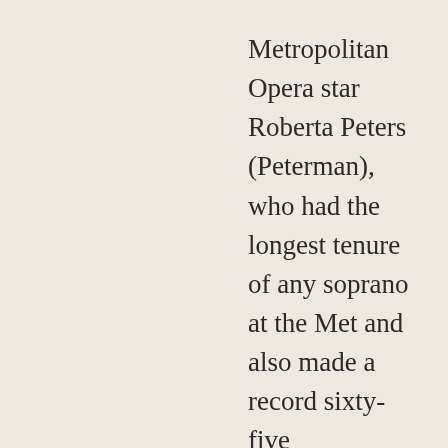Metropolitan Opera star Roberta Peters (Peterman), who had the longest tenure of any soprano at the Met and also made a record sixty-five appearances on the Ed Sullivan Show, was born in New York on this date in 1930. At 13, she was urged by Jan Peerce to train as a singer; by 19, she was managed by Sol Hurok and signed to a Met contract by Rudolf Bing. Peters was a key popularizer of opera through her many appearances on radio and television and in